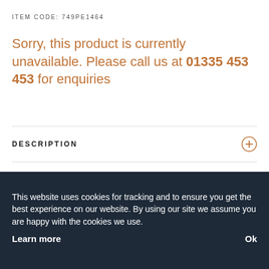ITEM CODE: 749PE1464
Sorry, this product is currently unavailable. Please call us at 01335 453 453 for enquiries
DESCRIPTION
SPECIFICATIONS
This website uses cookies for tracking and to ensure you get the best experience on our website. By using our site we assume you are happy with the cookies we use.
Learn more
Ok